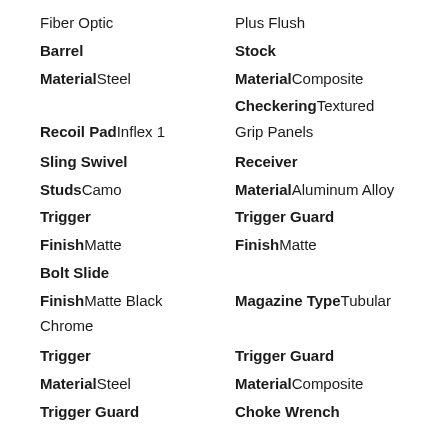Fiber Optic    Plus Flush
Barrel    Stock
MaterialSteel    MaterialComposite
CheckeringTextured
Recoil PadInflex 1    Grip Panels
Sling Swivel    Receiver
StudsCamo    MaterialAluminum Alloy
Trigger    Trigger Guard
FinishMatte    FinishMatte
Bolt Slide
FinishMatte Black    Magazine TypeTubular
Chrome
Trigger    Trigger Guard
MaterialSteel    MaterialComposite
Trigger Guard    Choke Wrench